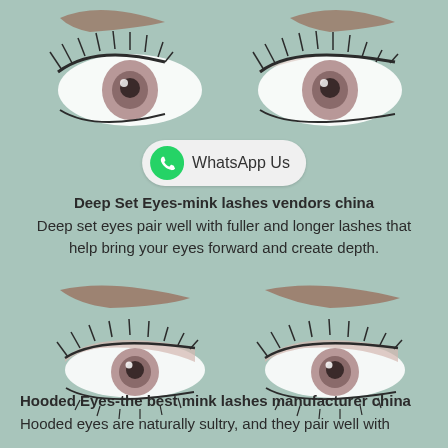[Figure (illustration): Illustration of a pair of deep-set eyes with lashes and brows, top portion cropped]
[Figure (logo): WhatsApp Us button with green WhatsApp icon and text on light rounded background]
Deep Set Eyes-mink lashes vendors china
Deep set eyes pair well with fuller and longer lashes that help bring your eyes forward and create depth.
[Figure (illustration): Illustration of a pair of hooded eyes with lashes and prominent brows]
Hooded Eyes-the best mink lashes manufacturer china
Hooded eyes are naturally sultry, and they pair well with